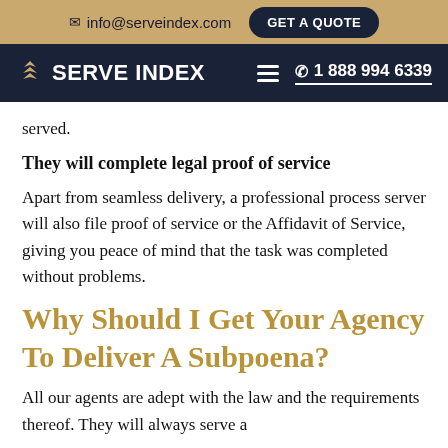info@serveindex.com  GET A QUOTE
SERVE INDEX  1 888 994 6339
served.
They will complete legal proof of service
Apart from seamless delivery, a professional process server will also file proof of service or the Affidavit of Service, giving you peace of mind that the task was completed without problems.
Why Should I Get Your Agency To Deliver A Subpoena?
All our agents are adept with the law and the requirements thereof. They will always serve a